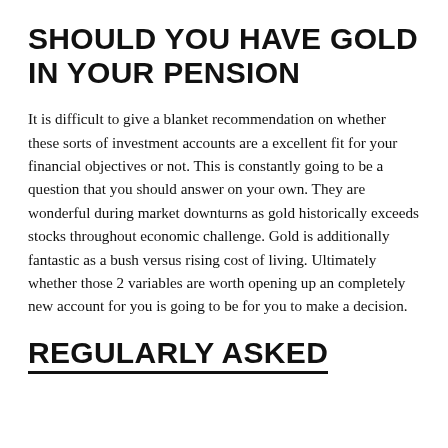SHOULD YOU HAVE GOLD IN YOUR PENSION
It is difficult to give a blanket recommendation on whether these sorts of investment accounts are a excellent fit for your financial objectives or not. This is constantly going to be a question that you should answer on your own. They are wonderful during market downturns as gold historically exceeds stocks throughout economic challenge. Gold is additionally fantastic as a bush versus rising cost of living. Ultimately whether those 2 variables are worth opening up an completely new account for you is going to be for you to make a decision.
REGULARLY ASKED